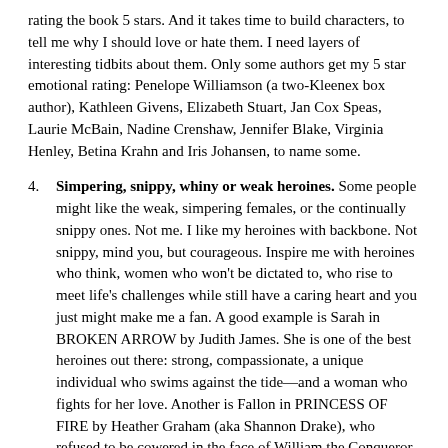rating the book 5 stars. And it takes time to build characters, to tell me why I should love or hate them. I need layers of interesting tidbits about them. Only some authors get my 5 star emotional rating: Penelope Williamson (a two-Kleenex box author), Kathleen Givens, Elizabeth Stuart, Jan Cox Speas, Laurie McBain, Nadine Crenshaw, Jennifer Blake, Virginia Henley, Betina Krahn and Iris Johansen, to name some.
4. Simpering, snippy, whiny or weak heroines. Some people might like the weak, simpering females, or the continually snippy ones. Not me. I like my heroines with backbone. Not snippy, mind you, but courageous. Inspire me with heroines who think, women who won't be dictated to, who rise to meet life's challenges while still have a caring heart and you just might make me a fan. A good example is Sarah in BROKEN ARROW by Judith James. She is one of the best heroines out there: strong, compassionate, a unique individual who swims against the tide—and a woman who fights for her love. Another is Fallon in PRINCESS OF FIRE by Heather Graham (aka Shannon Drake), who refused to be cowered in the face of William the Conqueror. Or, there is Rachel in Penelope Williamson's THE OUTSIDER. My reviews are replete with other examples. (See my Favorite Heroes and Heroines List I publish each December.) There is no quicker way to turn me off to a story than to make the heroine a whimpering, whiny female. (I could